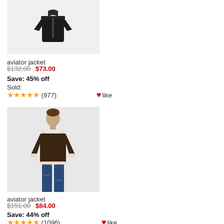[Figure (photo): Black leather aviator jacket on white background]
aviator jacket
$132.00  $73.00  Save: 45% off  Sold:
★★★★★ (977)  ❤like
[Figure (photo): Man wearing dark brown shearling aviator jacket with jeans]
aviator jacket
$151.00  $84.00  Save: 44% off  Sold:
★★★★★ (1096)  ❤like